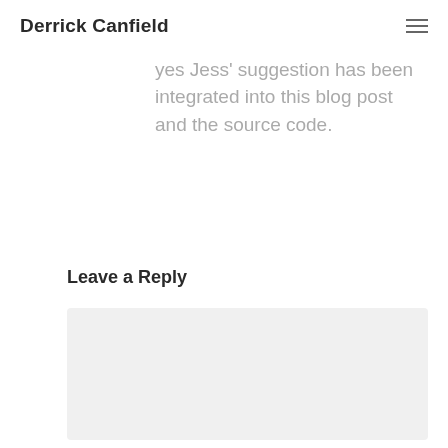Derrick Canfield
pologies for the late reply, but yes Jess' suggestion has been integrated into this blog post and the source code.
Leave a Reply
[Figure (other): Comment text area input box with light grey background]